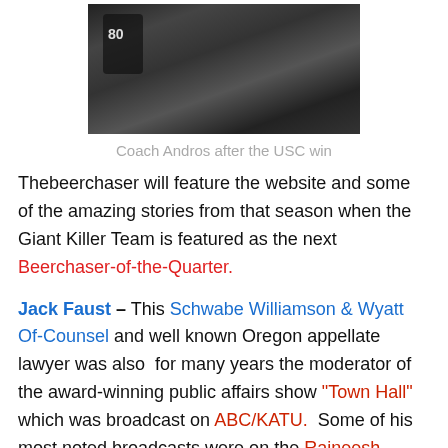[Figure (photo): Black and white photo of Coach Andros being celebrated after the USC win, surrounded by football players and crowd]
Coach Andros after the USC win
Thebeerchaser will feature the website and some of the amazing stories from that season when the Giant Killer Team is featured as the next Beerchaser-of-the-Quarter.
Jack Faust – This Schwabe Williamson & Wyatt Of-Counsel and well known Oregon appellate lawyer was also for many years the moderator of the award-winning public affairs show "Town Hall" which was broadcast on ABC/KATU. Some of his most noted broadcasts were on the Rajneesh "invasion" of Central Oregon where they formed a commune and tried to take over the town of Antelope and Wasco County by poisoning citizens and